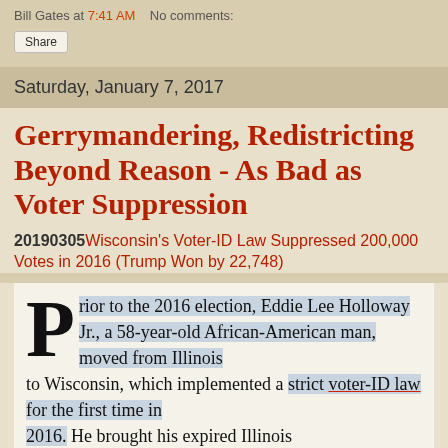Bill Gates at 7:41 AM   No comments:
Share
Saturday, January 7, 2017
Gerrymandering, Redistricting Beyond Reason - As Bad as Voter Suppression
20190305 Wisconsin's Voter-ID Law Suppressed 200,000 Votes in 2016 (Trump Won by 22,748)
Prior to the 2016 election, Eddie Lee Holloway Jr., a 58-year-old African-American man, moved from Illinois to Wisconsin, which implemented a strict voter-ID law for the first time in 2016. He brought his expired Illinois